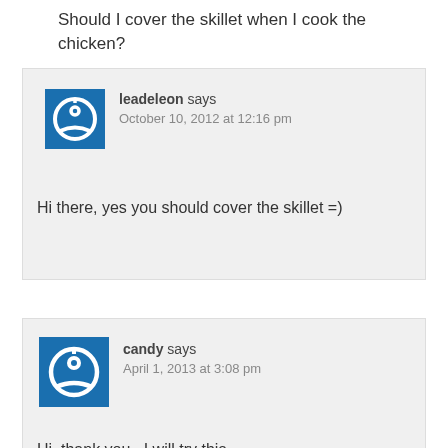Should I cover the skillet when I cook the chicken?
leadeleon says
October 10, 2012 at 12:16 pm

Hi there, yes you should cover the skillet =)
candy says
April 1, 2013 at 3:08 pm

Hi, thank you , I will try this.